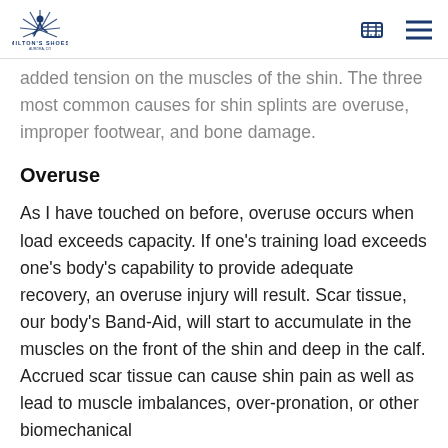Milton's Shoes [logo] [cart icon] [menu icon]
added tension on the muscles of the shin. The three most common causes for shin splints are overuse, improper footwear, and bone damage.
Overuse
As I have touched on before, overuse occurs when load exceeds capacity. If one's training load exceeds one's body's capability to provide adequate recovery, an overuse injury will result. Scar tissue, our body's Band-Aid, will start to accumulate in the muscles on the front of the shin and deep in the calf. Accrued scar tissue can cause shin pain as well as lead to muscle imbalances, over-pronation, or other biomechanical